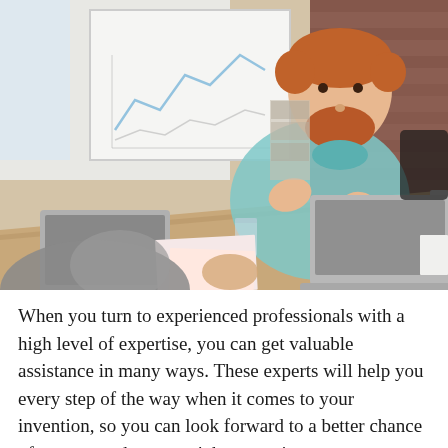[Figure (photo): A bearded man with reddish hair in a light blue shirt sitting at a conference table with laptops, papers, and a glass of water, gesturing while speaking. A whiteboard with charts is visible in the background. Another person's hands are visible in the foreground.]
When you turn to experienced professionals with a high level of expertise, you can get valuable assistance in many ways. These experts will help you every step of the way when it comes to your invention, so you can look forward to a better chance of success and you won't have to give